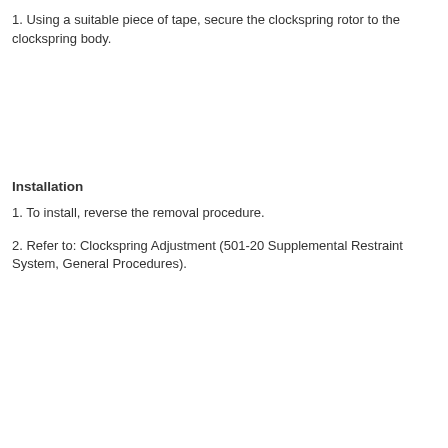1. Using a suitable piece of tape, secure the clockspring rotor to the clockspring body.
Installation
1. To install, reverse the removal procedure.
2. Refer to: Clockspring Adjustment (501-20 Supplemental Restraint System, General Procedures).